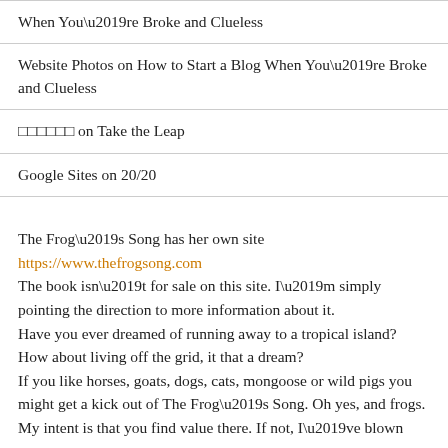When You’re Broke and Clueless
Website Photos on How to Start a Blog When You’re Broke and Clueless
□□□□□□ on Take the Leap
Google Sites on 20/20
The Frog’s Song has her own site https://www.thefrogsong.com The book isn’t for sale on this site. I’m simply pointing the direction to more information about it.
Have you ever dreamed of running away to a tropical island?
How about living off the grid, it that a dream?
If you like horses, goats, dogs, cats, mongoose or wild pigs you might get a kick out of The Frog’s Song. Oh yes, and frogs.
My intent is that you find value there. If not, I’ve blown